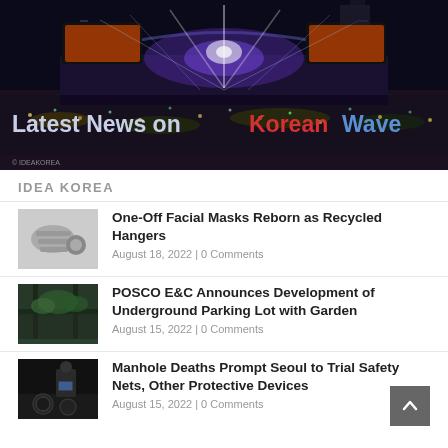[Figure (photo): Large outdoor K-pop concert at night with crowd, stage lights, and LED screens showing performers. Overlay text reads 'Latest News on Korean Wave'.]
IDEA KOREA
[Figure (photo): Thumbnail of recycled face masks and hangers]
One-Off Facial Masks Reborn as Recycled Hangers
August 18, 2022 | 0 Comments
[Figure (photo): Thumbnail of underground parking lot with garden vegetation]
POSCO E&C Announces Development of Underground Parking Lot with Garden
August 15, 2022 | 0 Comments
[Figure (photo): Thumbnail of person working near manhole/drain]
Manhole Deaths Prompt Seoul to Trial Safety Nets, Other Protective Devices
August 15, 2022 | 0 Comments